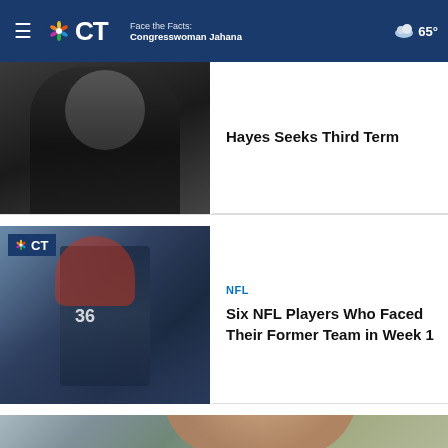NBC CT — Face the Facts: Congresswoman Jahana Hayes Seeks Third Term — 65°
[Figure (photo): Partial photo of a person wearing a dark outfit, top portion of a news article thumbnail]
Hayes Seeks Third Term
[Figure (photo): NFL football player wearing a Buffalo Bills helmet in game action, with NBC CT logo badge overlay]
NFL
Six NFL Players Who Faced Their Former Team in Week 1
[Figure (photo): Woman with dark hair in a bun, smiling outdoors in front of a building and tree, wearing a light blue top]